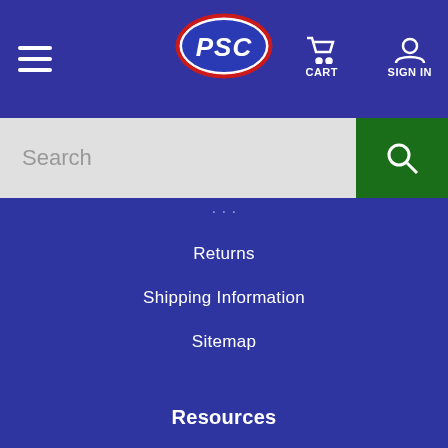[Figure (logo): PSC logo with red and blue oval badge in navigation bar]
CART
SIGN IN
Search
Returns
Shipping Information
Sitemap
Resources
About Us
Accessibility
Email Sign-up
Our Products
Privacy Policy